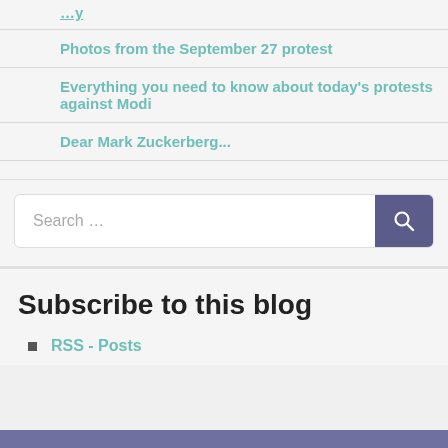Photos from the September 27 protest
Everything you need to know about today's protests against Modi
Dear Mark Zuckerberg...
Search ...
Subscribe to this blog
RSS - Posts